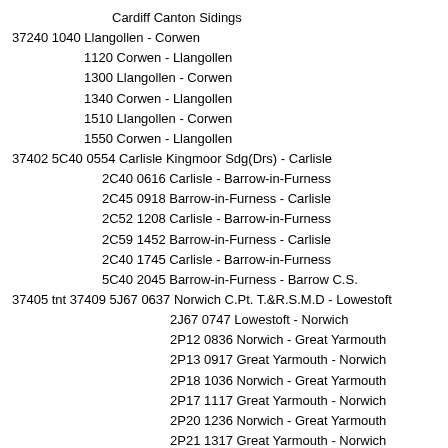Cardiff Canton Sidings
37240 1040 Llangollen - Corwen
1120 Corwen - Llangollen
1300 Llangollen - Corwen
1340 Corwen - Llangollen
1510 Llangollen - Corwen
1550 Corwen - Llangollen
37402 5C40 0554 Carlisle Kingmoor Sdg(Drs) - Carlisle
2C40 0616 Carlisle - Barrow-in-Furness
2C45 0918 Barrow-in-Furness - Carlisle
2C52 1208 Carlisle - Barrow-in-Furness
2C59 1452 Barrow-in-Furness - Carlisle
2C40 1745 Carlisle - Barrow-in-Furness
5C40 2045 Barrow-in-Furness - Barrow C.S.
37405 tnt 37409 5J67 0637 Norwich C.Pt. T.&R.S.M.D - Lowestoft
2J67 0747 Lowestoft - Norwich
2P12 0836 Norwich - Great Yarmouth
2P13 0917 Great Yarmouth - Norwich
2P18 1036 Norwich - Great Yarmouth
2P17 1117 Great Yarmouth - Norwich
2P20 1236 Norwich - Great Yarmouth
2P21 1317 Great Yarmouth - Norwich
2J80 1455 Norwich - Lowestoft
2J83 1548 Lowestoft - Norwich